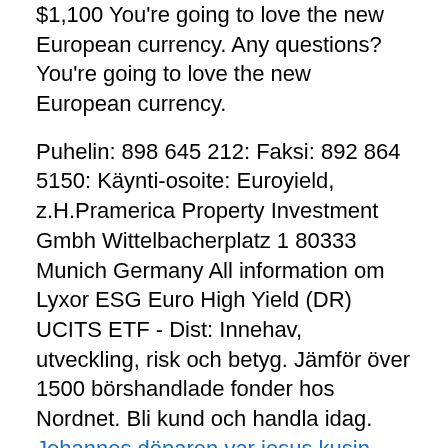$1,100 You're going to love the new European currency. Any questions? You're going to love the new European currency.
Puhelin: 898 645 212: Faksi: 892 864 5150: Käynti-osoite: Euroyield, z.H.Pramerica Property Investment Gmbh Wittelbacherplatz 1 80333 Munich Germany All information om Lyxor ESG Euro High Yield (DR) UCITS ETF - Dist: Innehav, utveckling, risk och betyg. Jämför över 1500 börshandlade fonder hos Nordnet. Bli kund och handla idag.
Johannes döparen var jesus kusin
Eurostat, the statistical office of the European Union. Joseph Bech building, 5 Rue Alphonse Weicker, L-2721 Luxembourg. I EU:s portal för öppna data hittar du… via en metadatakatalog